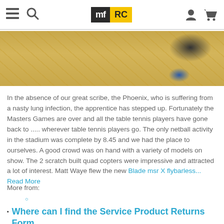mf RC — navigation bar with hamburger, search, logo, user, cart icons
[Figure (photo): Close-up photo of a shoe/boot on a wooden floor with a blue object partially visible]
In the absence of our great scribe, the Phoenix, who is suffering from a nasty lung infection, the apprentice has stepped up. Fortunately the Masters Games are over and all the table tennis players have gone back to ..... wherever table tennis players go. The only netball activity in the stadium was complete by 8.45 and we had the place to ourselves. A good crowd was on hand with a variety of models on show. The 2 scratch built quad copters were impressive and attracted a lot of interest. Matt Waye flew the new Blade msr X flybarless... Read More
More from:
Events
Where can I find the Service Product Returns Form